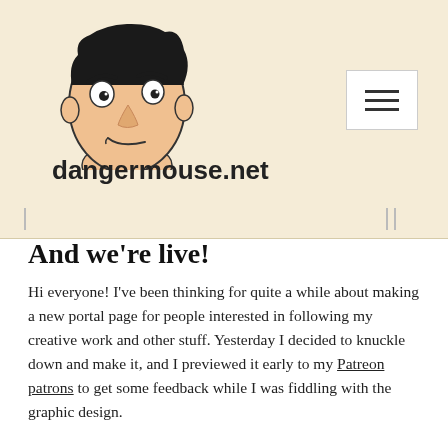[Figure (illustration): Cartoon character logo: a drawn face of a person with dark hair, thick eyebrows, wide eyes, and a smirk, with a simple outlined face/neck.]
dangermouse.net
And we’re live!
Hi everyone! I’ve been thinking for quite a while about making a new portal page for people interested in following my creative work and other stuff. Yesterday I decided to knuckle down and make it, and I previewed it early to my Patreon patrons to get some feedback while I was fiddling with the graphic design.